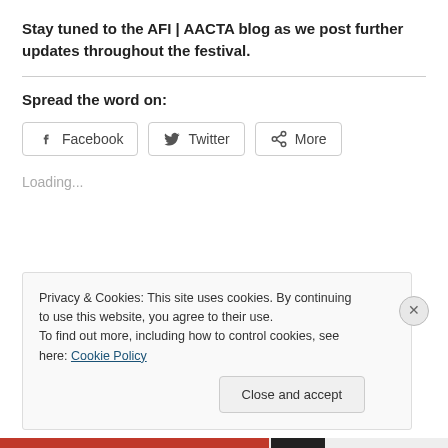Stay tuned to the AFI | AACTA blog as we post further updates throughout the festival.
Spread the word on:
[Figure (other): Social share buttons: Facebook, Twitter, More]
Loading...
Privacy & Cookies: This site uses cookies. By continuing to use this website, you agree to their use.
To find out more, including how to control cookies, see here: Cookie Policy